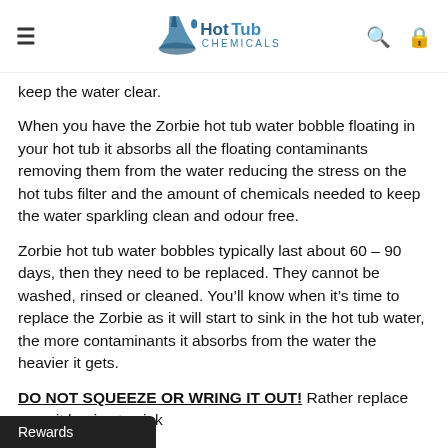Hot Tub Chemicals
keep the water clear.
When you have the Zorbie hot tub water bobble floating in your hot tub it absorbs all the floating contaminants removing them from the water reducing the stress on the hot tubs filter and the amount of chemicals needed to keep the water sparkling clean and odour free.
Zorbie hot tub water bobbles typically last about 60 – 90 days, then they need to be replaced. They cannot be washed, rinsed or cleaned. You'll know when it's time to replace the Zorbie as it will start to sink in the hot tub water, the more contaminants it absorbs from the water the heavier it gets.
DO NOT SQUEEZE OR WRING IT OUT! Rather replace once it begins to sink